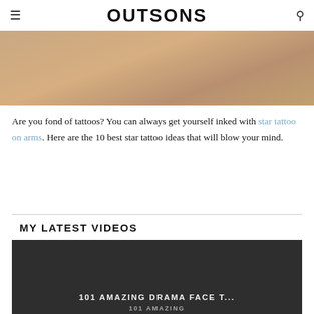OUTSONS
[Figure (photo): Partial view of a person's arm/shoulder area, close-up skin tone image cropped at the top of the page]
Are you fond of tattoos? You can always get yourself inked with star tattoo on arms. Here are the 10 best star tattoo ideas that will blow your mind.
MY LATEST VIDEOS
[Figure (screenshot): Video thumbnail showing '101 AMAZING DRAMA FACE T...' with dark background featuring a face illustration]